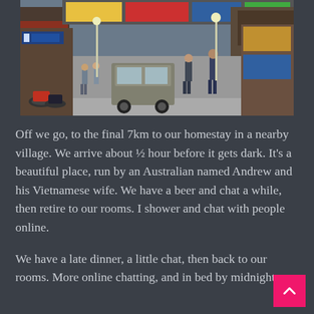[Figure (photo): A busy street scene with vehicles, motorcycles, and pedestrians. Shops with signs line both sides of the street.]
Off we go, to the final 7km to our homestay in a nearby village. We arrive about ½ hour before it gets dark. It's a beautiful place, run by an Australian named Andrew and his Vietnamese wife. We have a beer and chat a while, then retire to our rooms. I shower and chat with people online.
We have a late dinner, a little chat, then back to our rooms. More online chatting, and in bed by midnight.